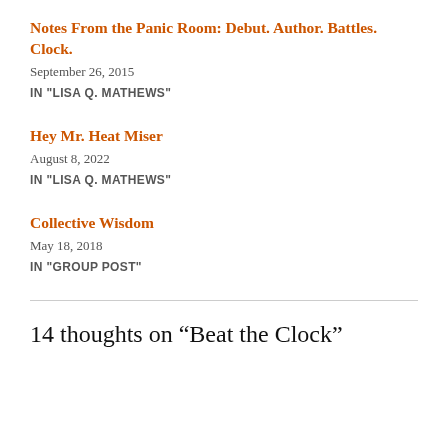Notes From the Panic Room: Debut. Author. Battles. Clock.
September 26, 2015
IN "LISA Q. MATHEWS"
Hey Mr. Heat Miser
August 8, 2022
IN "LISA Q. MATHEWS"
Collective Wisdom
May 18, 2018
IN "GROUP POST"
14 thoughts on “Beat the Clock”